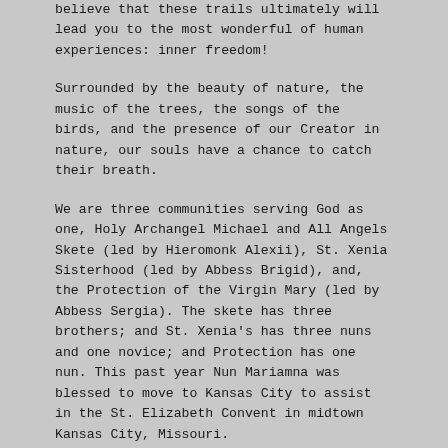believe that these trails ultimately will lead you to the most wonderful of human experiences: inner freedom!
Surrounded by the beauty of nature, the music of the trees, the songs of the birds, and the presence of our Creator in nature, our souls have a chance to catch their breath.
We are three communities serving God as one, Holy Archangel Michael and All Angels Skete (led by Hieromonk Alexii), St. Xenia Sisterhood (led by Abbess Brigid), and, the Protection of the Virgin Mary (led by Abbess Sergia). The skete has three brothers; and St. Xenia's has three nuns and one novice; and Protection has one nun. This past year Nun Mariamna was blessed to move to Kansas City to assist in the St. Elizabeth Convent in midtown Kansas City, Missouri.
Thanks to the mercies of our Kind Creator and Savior, Jesus Christ, the prayers and sacrificial gifts of many, the monastery property has a total of 80-acres, with 15-acres of farmable pasture, 65 acres of forest trails and ponds, and 7 well